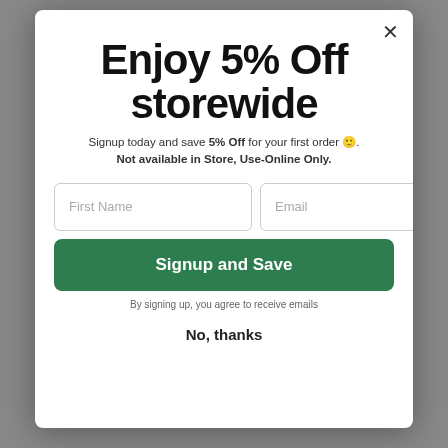Enjoy 5% Off storewide
Signup today and save 5% Off for your first order 🙂.
Not available in Store, Use-Online Only.
First Name
Email
Signup and Save
By signing up, you agree to receive emails
No, thanks